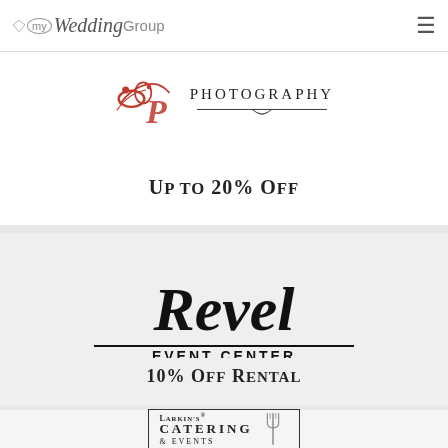my Wedding Group
[Figure (logo): Photography business logo with red ornamental flourish and decorative divider line]
Up to 20% Off
[Figure (logo): Revel Event Center logo with large italic script Revel and EVENT CENTER in small caps with double horizontal rules]
10% Off Rental
[Figure (logo): Larkin's Catering & Events logo in bordered box with fork/spoon icon]